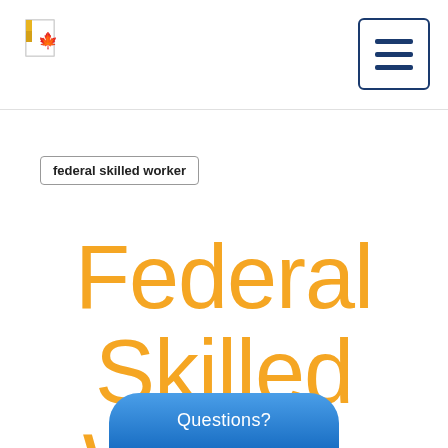federal skilled worker
Federal Skilled Worker
Questions?